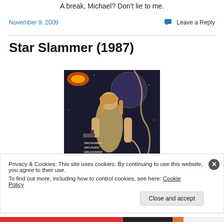A break, Michael? Don't lie to me.
November 9, 2009
Leave a Reply
Star Slammer (1987)
[Figure (photo): Movie poster for Star Slammer (1987) showing a woman in a sci-fi setting holding a gun, with space background, chains, and text reading UNCHAINED UNCAGED UNLEASHED IN SPACE]
Privacy & Cookies: This site uses cookies. By continuing to use this website, you agree to their use.
To find out more, including how to control cookies, see here: Cookie Policy
Close and accept